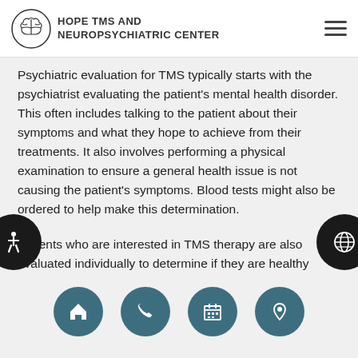HOPE TMS AND NEUROPSYCHIATRIC CENTER
Psychiatric evaluation for TMS typically starts with the psychiatrist evaluating the patient's mental health disorder. This often includes talking to the patient about their symptoms and what they hope to achieve from their treatments. It also involves performing a physical examination to ensure a general health issue is not causing the patient's symptoms. Blood tests might also be ordered to help make this determination.
Patients who are interested in TMS therapy are also evaluated individually to determine if they are healthy enough to handle magnetic pulses being sent into their brains. Health conditions like